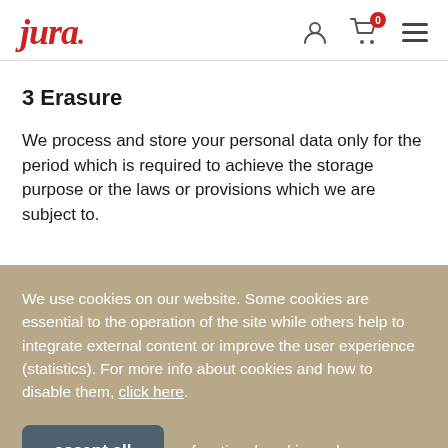Jura logo, user icon, cart icon (0 items), menu icon
3 Erasure
We process and store your personal data only for the period which is required to achieve the storage purpose or the laws or provisions which we are subject to.
We use cookies on our website. Some cookies are essential to the operation of the site while others help to integrate external content or improve the user experience (statistics). For more info about cookies and how to disable them, click here.
accept all | functional cookies only